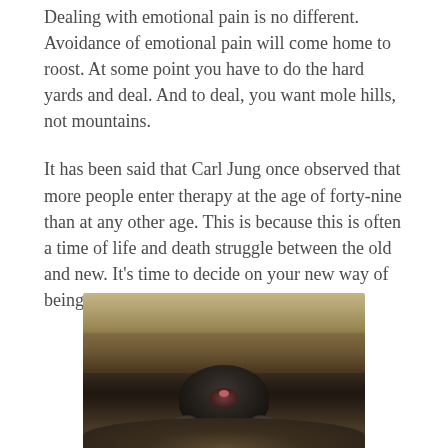Dealing with emotional pain is no different. Avoidance of emotional pain will come home to roost. At some point you have to do the hard yards and deal. And to deal, you want mole hills, not mountains.
It has been said that Carl Jung once observed that more people enter therapy at the age of forty-nine than at any other age. This is because this is often a time of life and death struggle between the old and new. It's time to decide on your new way of being, it's time to deal.
[Figure (photo): A mole emerging from a mound of dark earth/soil, photographed close-up against a blurred brown/beige background. The mole is dark-furred with visible pink nose and front paws with claws.]